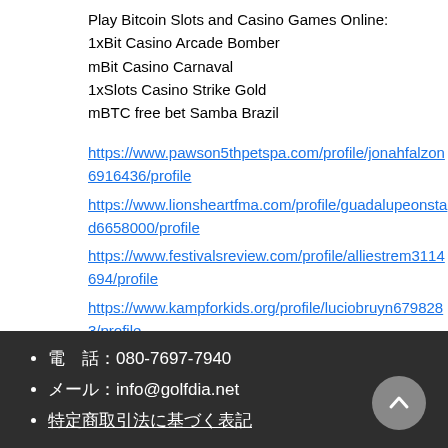Play Bitcoin Slots and Casino Games Online:
1xBit Casino Arcade Bomber
mBit Casino Carnaval
1xSlots Casino Strike Gold
mBTC free bet Samba Brazil
https://www.pawson5thpetspa.com/profile/jonahfalzon6916436/profile https://www.lionsheartfma.com/profile/guadalupeonstad6658000/profile https://www.festivalsreview.com/profile/alliestrem3114694/profile https://www.kampforkids.org/profile/luciobruyn6798283/profile
電　話：080-7697-7940
メール：info@golfdia.net
特定商取引法に基づく表記